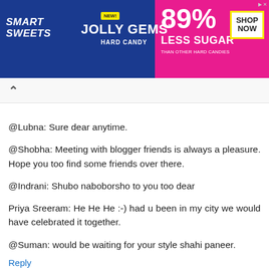[Figure (illustration): Smart Sweets Jolly Gems Hard Candy advertisement banner. Blue and pink background. '89% LESS SUGAR THAN OTHER HARD CANDIES' and 'SHOP NOW' button.]
@Lubna: Sure dear anytime.
@Shobha: Meeting with blogger friends is always a pleasure. Hope you too find some friends over there.
@Indrani: Shubo naboborsho to you too dear
Priya Sreeram: He He He :-) had u been in my city we would have celebrated it together.
@Suman: would be waiting for your style shahi paneer.
Reply
chef and her kitchen April 14, 2011 at 9:41 AM
Hmm...this was the curry which lubna was talking abt...hmm...looks really yummy..I do it almost similar just